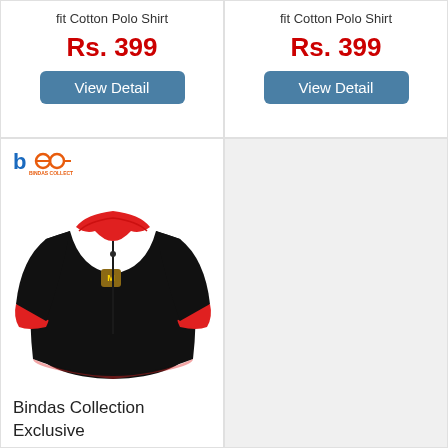fit Cotton Polo Shirt
Rs. 399
View Detail
fit Cotton Polo Shirt
Rs. 399
View Detail
[Figure (photo): Black long sleeve polo shirt with red collar and red cuffs, small emblem on chest, displayed on white background with Bindas Collection logo in top left corner]
Bindas Collection Exclusive Long Sleeves Pk Jersey Polo